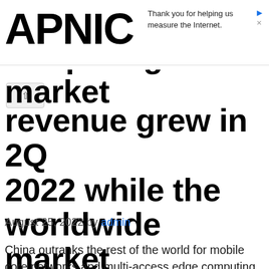APNIC
Thank you for helping us measure the Internet.
…mputing market revenue grew in 2Q 2022 while the worldwide market growth declines: Dell’Oro Group
August 25, 2022 by admin
China outranks the rest of the world for mobile core networks and multi-access edge computing market revenue growth in 2Q 2022, according to market firm Dell’Oro